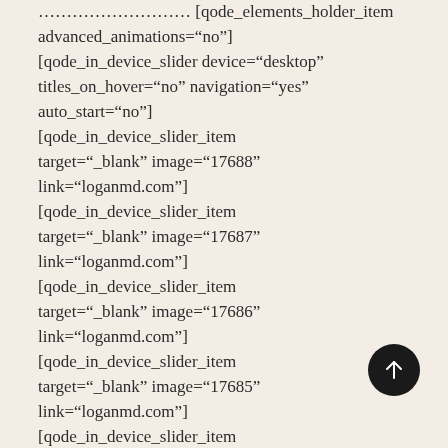[qode_elements_holder_item advanced_animations="no"] [qode_in_device_slider device="desktop" titles_on_hover="no" navigation="yes" auto_start="no"] [qode_in_device_slider_item target="_blank" image="17688" link="loganmd.com"] [qode_in_device_slider_item target="_blank" image="17687" link="loganmd.com"] [qode_in_device_slider_item target="_blank" image="17686" link="loganmd.com"] [qode_in_device_slider_item target="_blank" image="17685" link="loganmd.com"] [qode_in_device_slider_item target="_blank" image="17684"